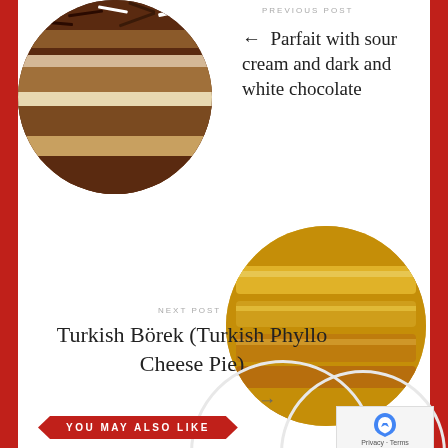[Figure (photo): Circular cropped photo of a chocolate layer cake with dark and white chocolate shavings on top]
PREVIOUS POST
← Parfait with sour cream and dark and white chocolate
NEXT POST
Turkish Börek (Turkish Phyllo Cheese Pie)
→
[Figure (photo): Circular cropped photo of golden-brown Turkish Börek (phyllo cheese pastry)]
YOU MAY ALSO LIKE
[Figure (photo): Google reCAPTCHA widget with Privacy and Terms links]